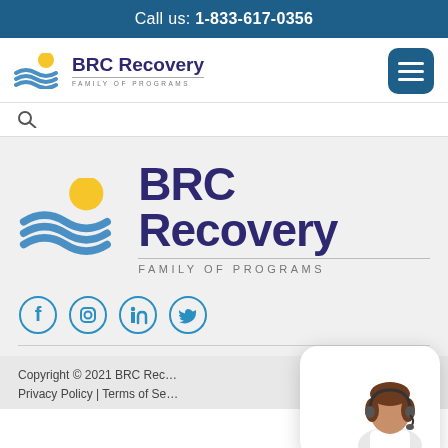Call us: 1-833-617-0356
[Figure (logo): BRC Recovery Family of Programs logo (small, in navigation header) with hamburger menu icon]
[Figure (logo): BRC Recovery Family of Programs logo (large, centered in gray content area) with social media icons (Facebook, Instagram, LinkedIn, Twitter)]
Copyright © 2021 BRC Recovery | Privacy Policy | Terms of Service